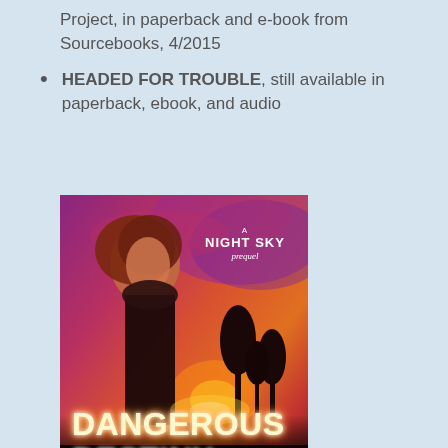Project, in paperback and e-book from Sourcebooks, 4/2015
HEADED FOR TROUBLE, still available in paperback, ebook, and audio
[Figure (photo): Book cover for 'Dangerous Destiny: A Night Sky Prequel' by Suzanne Brockmann and Melanie Brockmann. Features a young woman with auburn hair against a dramatic purple-red sky background. The title 'DANGEROUS DESTINY' appears in large white letters with a glowing effect. Author names appear at the bottom.]